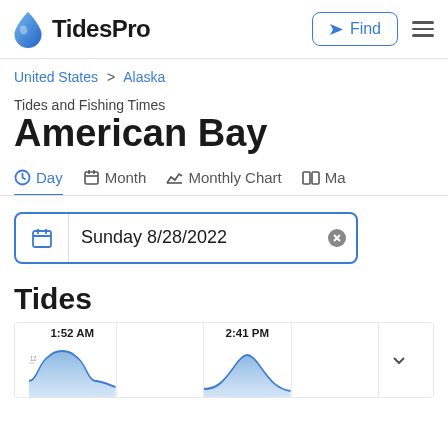TidesPro | Find | Menu
United States > Alaska
Tides and Fishing Times
American Bay
Day | Month | Monthly Chart | Ma…
Sunday 8/28/2022
Tides
[Figure (other): Tide chart thumbnails showing 1:52 AM high tide and 2:41 PM high tide for American Bay on Sunday 8/28/2022. Small line charts with mountain-shaped tide curves in blue.]